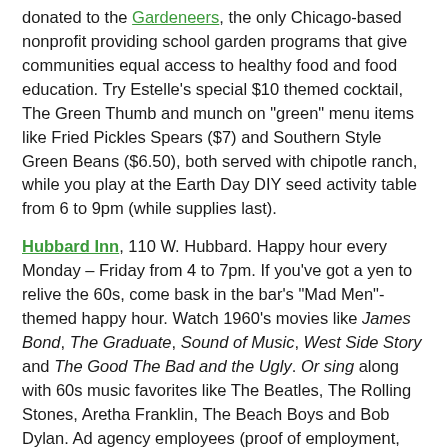donated to the Gardeneers, the only Chicago-based nonprofit providing school garden programs that give communities equal access to healthy food and food education. Try Estelle's special $10 themed cocktail, The Green Thumb and munch on "green" menu items like Fried Pickles Spears ($7) and Southern Style Green Beans ($6.50), both served with chipotle ranch, while you play at the Earth Day DIY seed activity table from 6 to 9pm (while supplies last).
Hubbard Inn, 110 W. Hubbard. Happy hour every Monday – Friday from 4 to 7pm. If you've got a yen to relive the 60s, come bask in the bar's "Mad Men"-themed happy hour. Watch 1960's movies like James Bond, The Graduate, Sound of Music, West Side Story and The Good The Bad and the Ugly. Or sing along with 60s music favorites like The Beatles, The Rolling Stones, Aretha Franklin, The Beach Boys and Bob Dylan. Ad agency employees (proof of employment, please) enjoy 15% off their total bill. Other specials include: